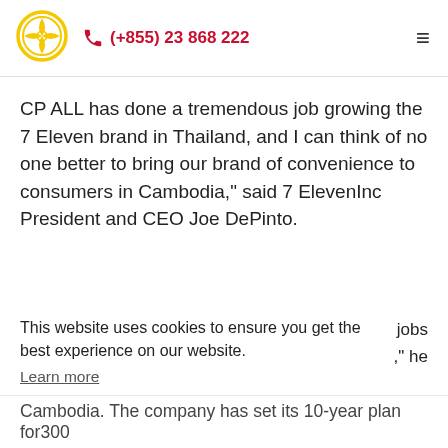[Figure (logo): Circular gold logo with decorative motif]
(+855) 23 868 222
CP ALL has done a tremendous job growing the 7 Eleven brand in Thailand, and I can think of no one better to bring our brand of convenience to consumers in Cambodia," said 7 ElevenInc President and CEO Joe DePinto.
This website uses cookies to ensure you get the best experience on our website.
Learn more
Cambodia. The company has set its 10-year plan for300